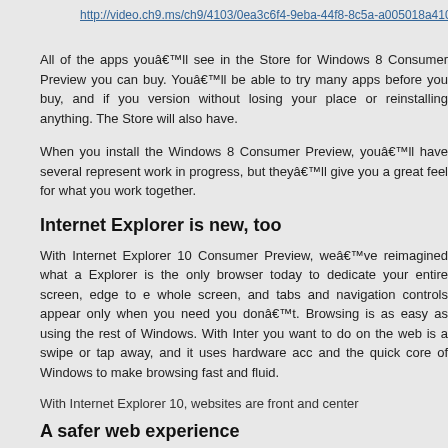http://video.ch9.ms/ch9/4103/0ea3c6f4-9eba-44f8-8c5a-a005018a4103/Firs
All of the apps youâ€™ll see in the Store for Windows 8 Consumer Preview you can buy. Youâ€™ll be able to try many apps before you buy, and if you version without losing your place or reinstalling anything. The Store will also have.
When you install the Windows 8 Consumer Preview, youâ€™ll have several represent work in progress, but theyâ€™ll give you a great feel for what you work together.
Internet Explorer is new, too
With Internet Explorer 10 Consumer Preview, weâ€™ve reimagined what a Explorer is the only browser today to dedicate your entire screen, edge to e whole screen, and tabs and navigation controls appear only when you need you donâ€™t. Browsing is as easy as using the rest of Windows. With Inter you want to do on the web is a swipe or tap away, and it uses hardware acc and the quick core of Windows to make browsing fast and fluid.
With Internet Explorer 10, websites are front and center
A safer web experience